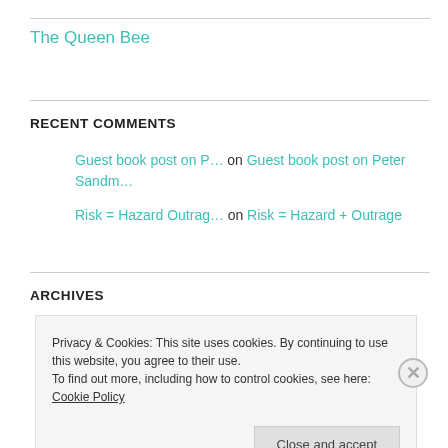The Queen Bee
RECENT COMMENTS
Guest book post on P… on Guest book post on Peter Sandm…
Risk = Hazard Outrag… on Risk = Hazard + Outrage
ARCHIVES
Privacy & Cookies: This site uses cookies. By continuing to use this website, you agree to their use.
To find out more, including how to control cookies, see here: Cookie Policy
Close and accept